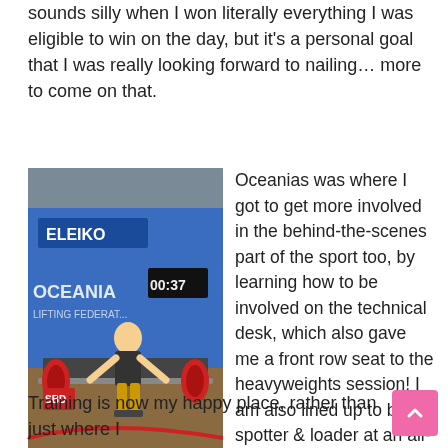sounds silly when I won literally everything I was eligible to win on the day, but it's a personal goal that I was really looking forward to nailing… more to come on that.
[Figure (photo): A powerlifter (woman in yellow and black singlet) lifting a loaded barbell at an Oceania Powerlifting Federation competition, with an ELEIKO banner and a timer showing 00:37 in the background.]
Oceanias was where I got to get more involved in the behind-the-scenes part of the sport too, by learning how to be involved on the technical desk, which also gave me a front row seat to the heavyweights session! I am also lined up to be a spotter & loader at an all-women competition later in the year. That's another thing about powerlifting – everyone helps out, which adds to the community spirit of the sport.
Training is now my happy place, rather than just where I